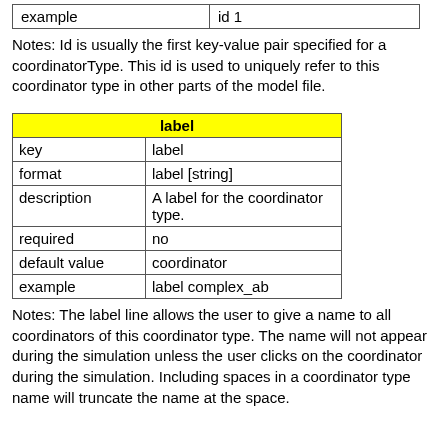| example | id 1 |
Notes: Id is usually the first key-value pair specified for a coordinatorType. This id is used to uniquely refer to this coordinator type in other parts of the model file.
| label |
| --- |
| key | label |
| format | label [string] |
| description | A label for the coordinator type. |
| required | no |
| default value | coordinator |
| example | label complex_ab |
Notes: The label line allows the user to give a name to all coordinators of this coordinator type. The name will not appear during the simulation unless the user clicks on the coordinator during the simulation. Including spaces in a coordinator type name will truncate the name at the space.